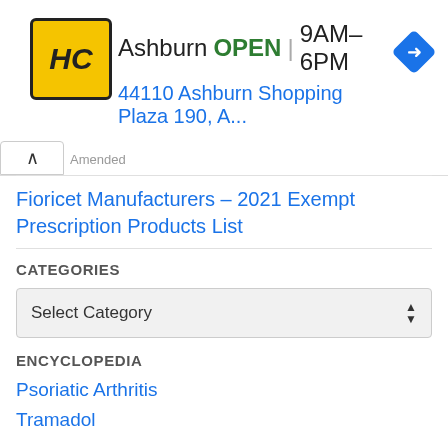[Figure (screenshot): Advertisement banner for HC (Harvest Community) store in Ashburn, showing logo, OPEN status, hours 9AM-6PM, address 44110 Ashburn Shopping Plaza 190, A..., and a blue navigation diamond icon]
Amended
^
Fioricet Manufacturers – 2021 Exempt Prescription Products List
CATEGORIES
Select Category
ENCYCLOPEDIA
Psoriatic Arthritis
Tramadol